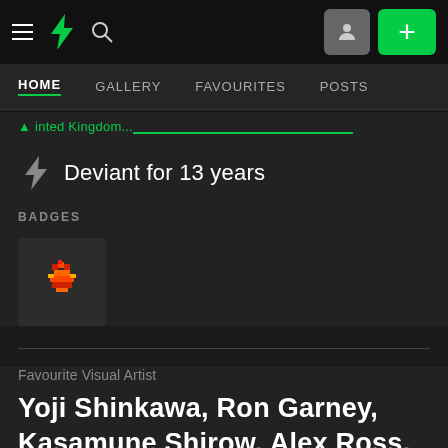DeviantArt top navigation: hamburger menu, DA logo, search, user icon, plus button
HOME | GALLERY | FAVOURITES | POSTS
Deviant for 13 years
BADGES
[Figure (illustration): A small pixel-art badge icon showing a bird/phoenix-like creature in red and orange on a dark background square]
Favourite Visual Artist
Yoji Shinkawa, Ron Garney, Kasamune Shirow, Alex Ross, JG Jones, Frank